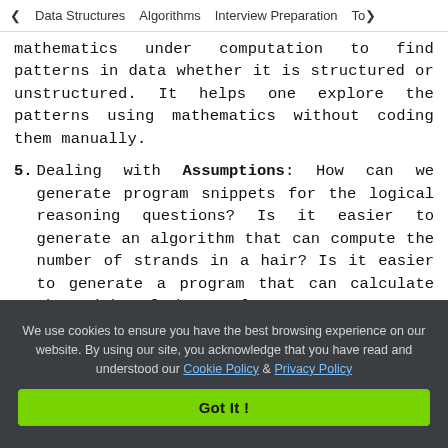< Data Structures   Algorithms   Interview Preparation   Top>
mathematics under computation to find patterns in data whether it is structured or unstructured. It helps one explore the patterns using mathematics without coding them manually.
5. Dealing with Assumptions: How can we generate program snippets for the logical reasoning questions? Is it easier to generate an algorithm that can compute the number of strands in a hair? Is it easier to generate a program that can calculate the weight of the total creatures
We use cookies to ensure you have the best browsing experience on our website. By using our site, you acknowledge that you have read and understood our Cookie Policy & Privacy Policy
Got It !